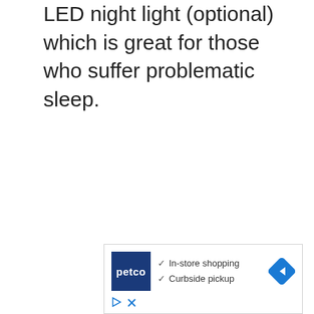LED night light (optional) which is great for those who suffer problematic sleep.
[Figure (other): Petco advertisement banner showing Petco logo, checkmarks for 'In-store shopping' and 'Curbside pickup', and a navigation arrow icon]